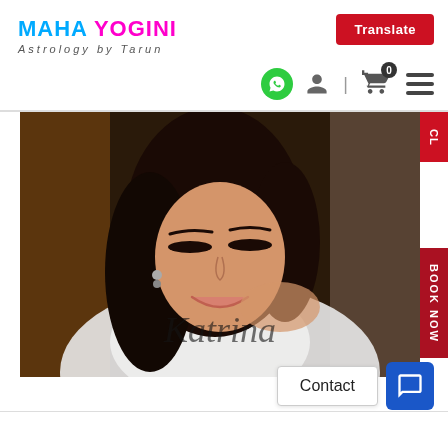MAHA YOGINI Astrology by Tarun
Translate
[Figure (screenshot): Website header with navigation icons: WhatsApp icon, user icon, separator bar, shopping cart with 0 badge, and hamburger menu icon]
[Figure (photo): Photo of a smiling young woman with long dark wavy hair, wearing a white top, looking downward. Cursive text overlay reads 'Katrina']
Contact
[Figure (screenshot): Blue chat button icon]